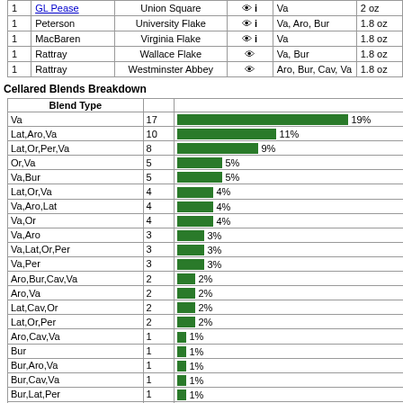|  | Brand | Blend |  | Type | Size |
| --- | --- | --- | --- | --- | --- |
| 1 | GL Pease | Union Square | eye i | Va | 2 oz |
| 1 | Peterson | University Flake | eye i | Va, Aro, Bur | 1.8 oz |
| 1 | MacBaren | Virginia Flake | eye i | Va | 1.8 oz |
| 1 | Rattray | Wallace Flake | eye | Va, Bur | 1.8 oz |
| 1 | Rattray | Westminster Abbey | eye | Aro, Bur, Cav, Va | 1.8 oz |
Cellared Blends Breakdown
[Figure (bar-chart): Cellared Blends Breakdown]